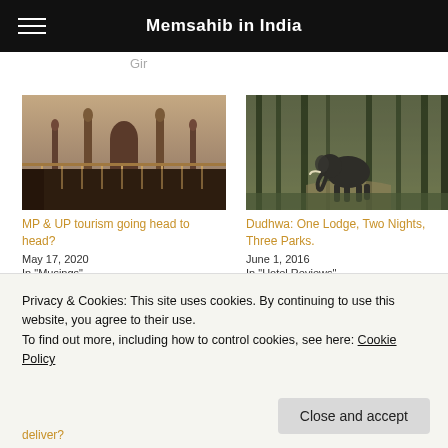Memsahib in India
Gir
[Figure (photo): Photo of an ornate mosque or temple with minarets and decorative railing in warm evening light]
MP & UP tourism going head to head?
May 17, 2020
In "Musings"
[Figure (photo): Photo of an elephant walking through a misty forest path]
Dudhwa: One Lodge, Two Nights, Three Parks.
June 1, 2016
In "Hotel Reviews"
[Figure (photo): Partial photo (cropped) of a third article image]
Privacy & Cookies: This site uses cookies. By continuing to use this website, you agree to their use.
To find out more, including how to control cookies, see here: Cookie Policy
deliver?